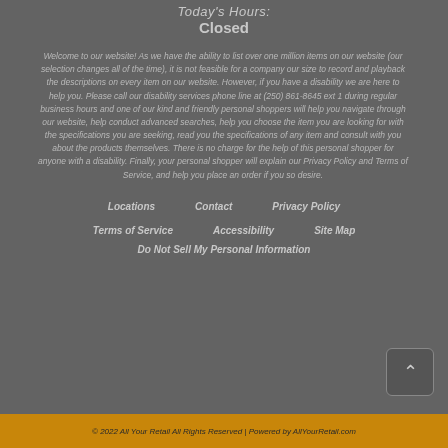Today's Hours: Closed
Welcome to our website! As we have the ability to list over one million items on our website (our selection changes all of the time), it is not feasible for a company our size to record and playback the descriptions on every item on our website. However, if you have a disability we are here to help you. Please call our disability services phone line at (250) 861-8645 ext 1 during regular business hours and one of our kind and friendly personal shoppers will help you navigate through our website, help conduct advanced searches, help you choose the item you are looking for with the specifications you are seeking, read you the specifications of any item and consult with you about the products themselves. There is no charge for the help of this personal shopper for anyone with a disability. Finally, your personal shopper will explain our Privacy Policy and Terms of Service, and help you place an order if you so desire.
Locations
Contact
Privacy Policy
Terms of Service
Accessibility
Site Map
Do Not Sell My Personal Information
© 2022 All Your Retail All Rights Reserved | Powered by AllYourRetail.com